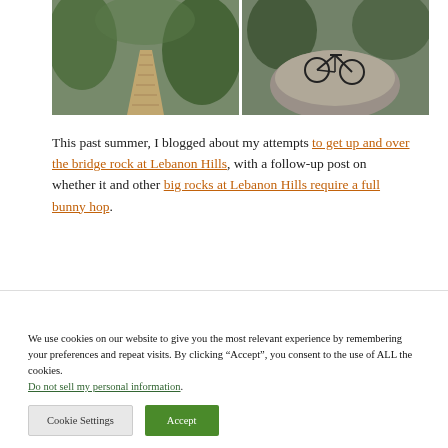[Figure (photo): Two outdoor trail photos side by side: left shows a wooden boardwalk/bridge trail through green forest; right shows a mountain bike leaning on a large boulder surrounded by trees]
This past summer, I blogged about my attempts to get up and over the bridge rock at Lebanon Hills, with a follow-up post on whether it and other big rocks at Lebanon Hills require a full bunny hop.
We use cookies on our website to give you the most relevant experience by remembering your preferences and repeat visits. By clicking “Accept”, you consent to the use of ALL the cookies.
Do not sell my personal information.